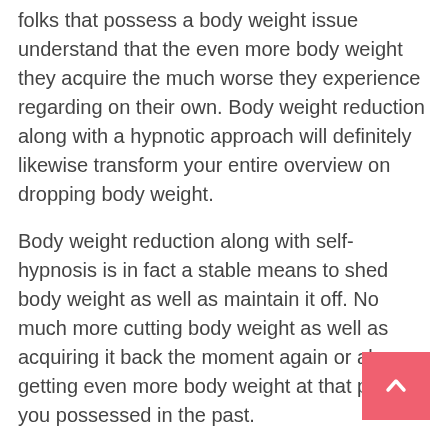folks that possess a body weight issue understand that the even more body weight they acquire the much worse they experience regarding on their own. Body weight reduction along with a hypnotic approach will definitely likewise transform your entire overview on dropping body weight.
Body weight reduction along with self-hypnosis is in fact a stable means to shed body weight as well as maintain it off. No much more cutting body weight as well as acquiring it back the moment again or also getting even more body weight at that point you possessed in the past.
A little bit of well-known tip is actually that many individuals that preserve a place healthy and balanced body weight perform certainly not